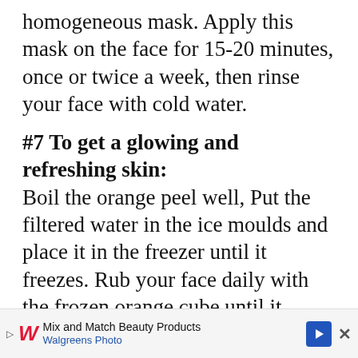homogeneous mask. Apply this mask on the face for 15-20 minutes, once or twice a week, then rinse your face with cold water.
#7 To get a glowing and refreshing skin:
Boil the orange peel well, Put the filtered water in the ice moulds and place it in the freezer until it freezes. Rub your face daily with the frozen orange cube until it completely melts.
#8 To fight the signs of aging: Orange peel contains a high percentage of antioxidants that help fight free radicals responsible for the appearance of wrinkles and skin
[Figure (screenshot): Walgreens Photo advertisement banner at the bottom of the page reading 'Mix and Match Beauty Products' and 'Walgreens Photo']